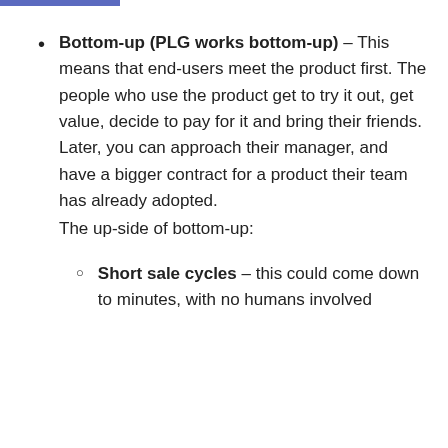Bottom-up (PLG works bottom-up) – This means that end-users meet the product first. The people who use the product get to try it out, get value, decide to pay for it and bring their friends. Later, you can approach their manager, and have a bigger contract for a product their team has already adopted.
The up-side of bottom-up:
Short sale cycles – this could come down to minutes, with no humans involved